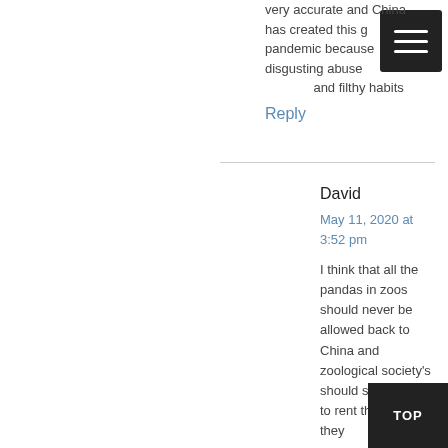very accurate and China has created this global pandemic because of disgusting abuse of animals and filthy habits
Reply
David
May 11, 2020 at 3:52 pm
I think that all the pandas in zoos should never be allowed back to China and zoological society's should stop paying to rent the animals they